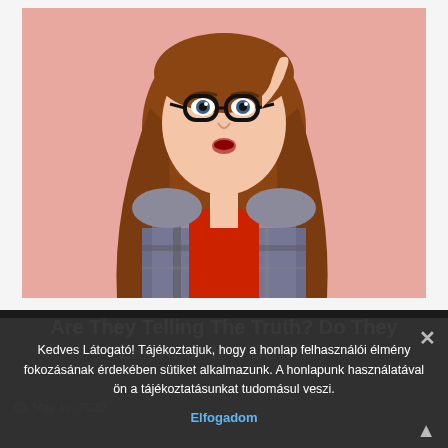[Figure (photo): Young woman with long auburn hair wearing a plaid shirt over a red top, pulling down oversized black-rimmed glasses and looking with a skeptical/surprised expression. Background is solid pink/salmon color.]
Are They Telling The Truth? Do They Lie, And How Do They Lie? A Psychologist...
Kedves Látogató! Tájékoztatjuk, hogy a honlap felhasználói élmény fokozásának érdekében sütiket alkalmazunk. A honlapunk használatával ön a tájékoztatásunkat tudomásul veszi.
Elfogadom
May 19, 2020